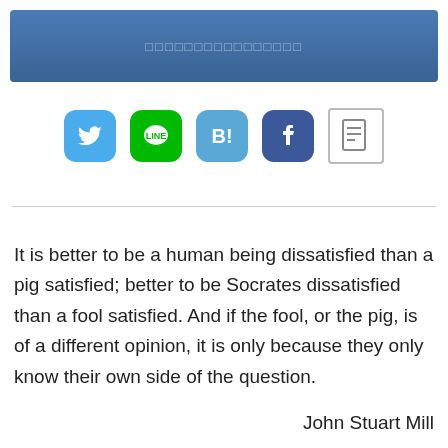□□□□□□□□□□□□□□□□
[Figure (other): Social share icons: Twitter (blue bird), LINE (green), Hatena Bookmark (blue B!), Facebook (blue f), Note (document icon)]
It is better to be a human being dissatisfied than a pig satisfied; better to be Socrates dissatisfied than a fool satisfied. And if the fool, or the pig, is of a different opinion, it is only because they only know their own side of the question.
John Stuart Mill